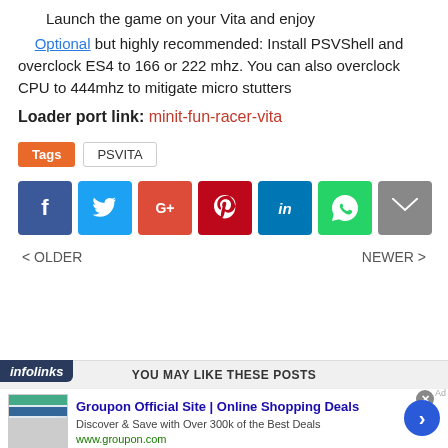Launch the game on your Vita and enjoy
Optional but highly recommended: Install PSVShell and overclock ES4 to 166 or 222 mhz. You can also overclock CPU to 444mhz to mitigate micro stutters
Loader port link: minit-fun-racer-vita
Tags: PSVITA
[Figure (other): Social share buttons: Facebook, Twitter, Google+, Pinterest, LinkedIn, WhatsApp, Email]
< OLDER    NEWER >
YOU MAY LIKE THESE POSTS
[Figure (other): Advertisement banner: Groupon Official Site | Online Shopping Deals - Discover & Save with Over 300k of the Best Deals - www.groupon.com]